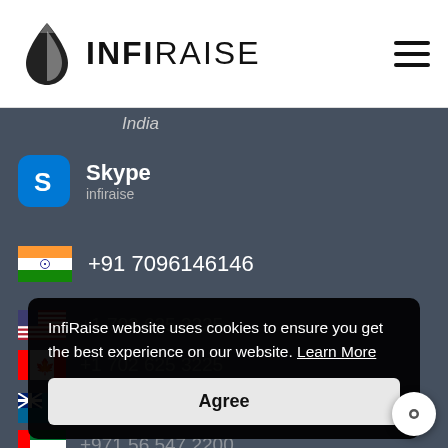[Figure (logo): InfiRaise logo with leaf/droplet icon and text INFIRAISE]
India
Skype
infiraise
+91 7096146146
+1 702 625 3225
+1 702 625 3225 (Canada)
+61 414 600 857
+971 56 547 2200
InfiRaise website uses cookies to ensure you get the best experience on our website. Learn More
Agree